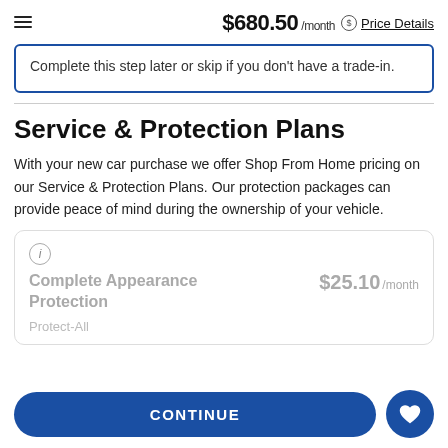$680.50 /month Price Details
Complete this step later or skip if you don't have a trade-in.
Service & Protection Plans
With your new car purchase we offer Shop From Home pricing on our Service & Protection Plans. Our protection packages can provide peace of mind during the ownership of your vehicle.
Complete Appearance Protection  $25.10 /month
Protect-All